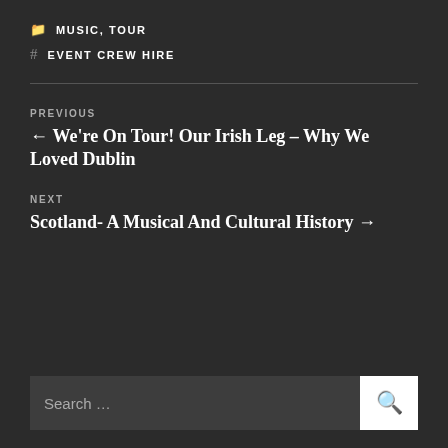MUSIC, TOUR
EVENT CREW HIRE
PREVIOUS
← We're On Tour! Our Irish Leg – Why We Loved Dublin
NEXT
Scotland- A Musical And Cultural History →